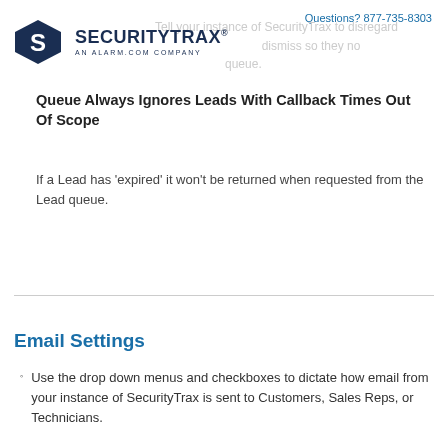Questions? 877-735-8303
[Figure (logo): SecurityTrax logo — hexagon icon with S, text SECURITYTRAX AN ALARM.COM COMPANY]
Tell your instance of SecurityTrax to disregard ... dismiss so they no ... queue.
Queue Always Ignores Leads With Callback Times Out Of Scope
If a Lead has 'expired' it won't be returned when requested from the Lead queue.
Email Settings
Use the drop down menus and checkboxes to dictate how email from your instance of SecurityTrax is sent to Customers, Sales Reps, or Technicians.